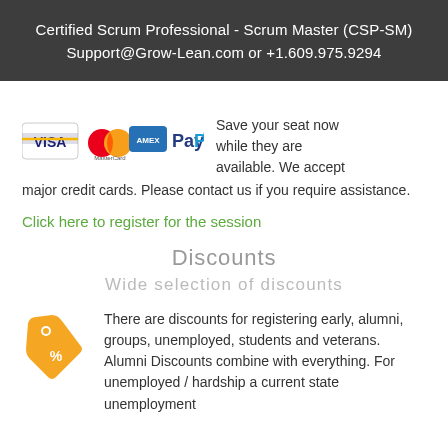Certified Scrum Professional - Scrum Master (CSP-SM)
Support@Grow-Lean.com or +1.609.975.9294
[Figure (logo): Payment method logos: Visa, MasterCard, American Express, PayPal]
Save your seat now while they are available. We accept major credit cards. Please contact us if you require assistance.
Click here to register for the session
Discounts
Wide selection of discounts
[Figure (illustration): Yellow discount tag icon with percent symbol]
There are discounts for registering early, alumni, groups, unemployed, students and veterans. Alumni Discounts combine with everything. For unemployed / hardship a current state unemployment